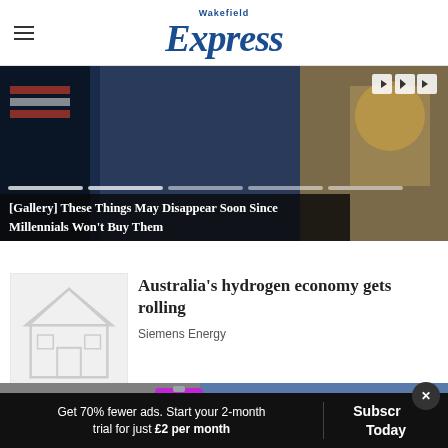Wakefield Express
[Figure (screenshot): Gallery slideshow image with media player controls (previous, play, next buttons) and progress bar segments. Dark blue and tan tones.]
[Gallery] These Things May Disappear Soon Since Millennials Won't Buy Them
[Figure (illustration): Article thumbnail showing a faded house/building graphic on light grey background]
Australia's hydrogen economy gets rolling
Siemens Energy
[Figure (screenshot): YETI advertisement banner: ICE OUT THE COMPETITION with purple cooler and tumblers, SHOP NOW button, YETI branding]
Out the Prices)
Get 70% fewer ads. Start your 2-month trial for just £2 per month | Subscribe Today